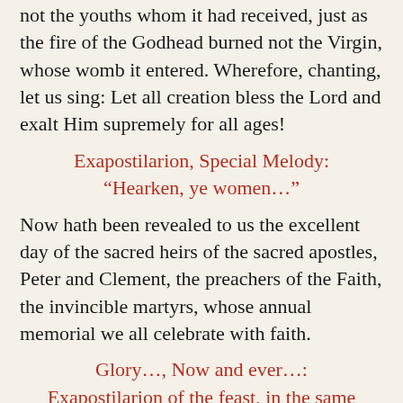not the youths whom it had received, just as the fire of the Godhead burned not the Virgin, whose womb it entered. Wherefore, chanting, let us sing: Let all creation bless the Lord and exalt Him supremely for all ages!
Exapostilarion, Special Melody: “Hearken, ye women…”
Now hath been revealed to us the excellent day of the sacred heirs of the sacred apostles, Peter and Clement, the preachers of the Faith, the invincible martyrs, whose annual memorial we all celebrate with faith.
Glory…, Now and ever…: Exapostilarion of the feast, in the same melody
With faith let us praise Mary, the divine Maiden, whom the company of the prophets proclaimed of old as the jar and the staff, the tablets and the unquarried mountain; for she is led today into the Holy of holies, to be raised for the Lord.